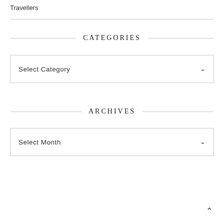Travellers
CATEGORIES
Select Category
ARCHIVES
Select Month